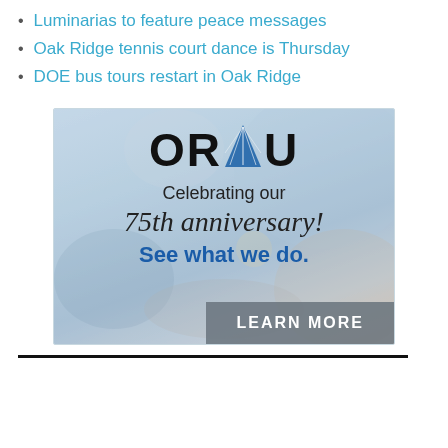Luminarias to feature peace messages
Oak Ridge tennis court dance is Thursday
DOE bus tours restart in Oak Ridge
[Figure (illustration): ORAU advertisement showing a microscope background with ORAU logo (blue triangle within letters), text 'Celebrating our 75th anniversary! See what we do.' and a grey LEARN MORE button.]